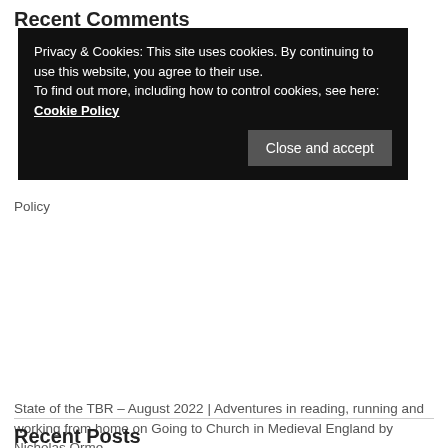Recent Comments
Privacy & Cookies: This site uses cookies. By continuing to use this website, you agree to their use.
To find out more, including how to control cookies, see here: Cookie Policy
Close and accept
Policy
State of the TBR – August 2022 | Adventures in reading, running and working from home on Going to Church in Medieval England by Nicholas Orme
Summer Kitchens by Olia Hercules – Shiny New Books on Root Stem Leaf Flower by Gill Meller
Codename: Madeleine by Barnaby Jameson – Blogtour – Annabookbel on The Facemaker: One Surgeon's Battle to Mend the Disfigured Soldiers of World War I, by Lindsey Fitzharris
Recent Posts